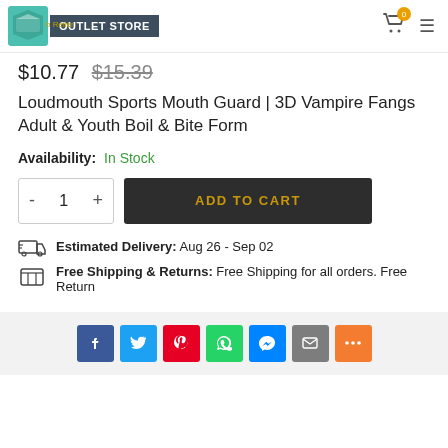OUTLET STORE
$10.77  $15.39
Loudmouth Sports Mouth Guard | 3D Vampire Fangs Adult & Youth Boil & Bite Form
Availability: In Stock
- 1 +   ADD TO CART
Estimated Delivery: Aug 26 - Sep 02
Free Shipping & Returns: Free Shipping for all orders. Free Return
[Figure (other): Social share buttons: Facebook, Twitter, Pinterest, WhatsApp, Messenger, Email, More]